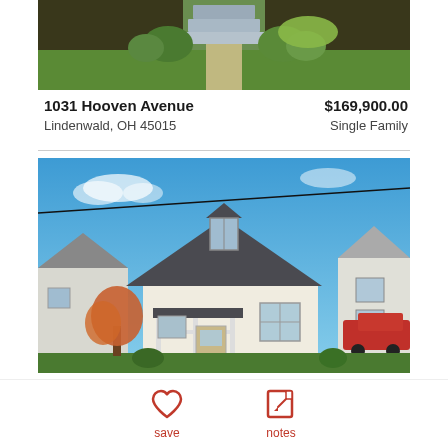[Figure (photo): Top portion of a property exterior photo showing front yard with green grass, dark mulch garden beds, concrete steps, and walkway]
1031 Hooven Avenue
Lindenwald, OH 45015
$169,900.00
Single Family
[Figure (photo): Exterior front view of a white single-family bungalow home with dark roof, front porch with white railings, upper dormer window, orange/red Japanese maple tree in yard, neighboring houses on both sides, red truck visible on right, blue sky with light clouds]
save   notes